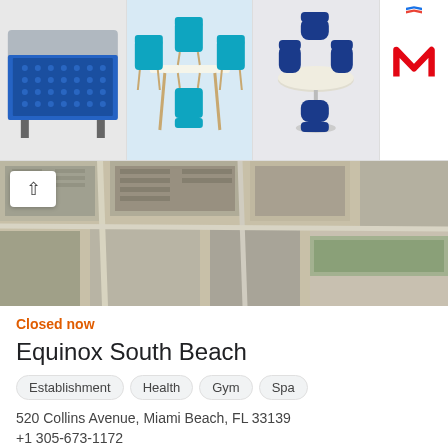[Figure (photo): Advertisement banner showing three furniture product images (a blue storage cabinet, a teal dining set, and a round table with blue velvet chairs) and a MediaMarkt logo on the right side]
[Figure (map): Aerial/satellite map view of an urban area, South Beach Miami, with a collapse/up-arrow button overlay]
Closed now
Equinox South Beach
Establishment   Health   Gym   Spa
520 Collins Avenue, Miami Beach, FL 33139
+1 305-673-1172
[Figure (map): Aerial/satellite map view showing location marker (red target pin) for Equinox South Beach, with ocean visible on the right and urban blocks on the left]